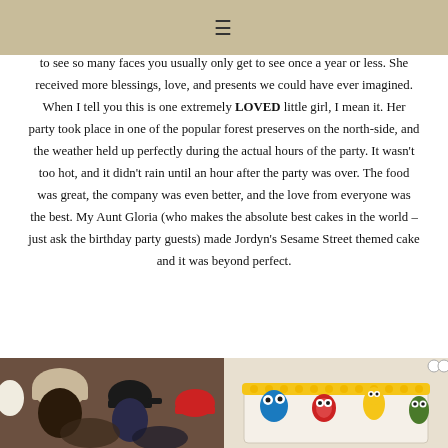≡
to see so many faces you usually only get to see once a year or less. She received more blessings, love, and presents we could have ever imagined. When I tell you this is one extremely LOVED little girl, I mean it. Her party took place in one of the popular forest preserves on the north-side, and the weather held up perfectly during the actual hours of the party. It wasn't too hot, and it didn't rain until an hour after the party was over. The food was great, the company was even better, and the love from everyone was the best. My Aunt Gloria (who makes the absolute best cakes in the world – just ask the birthday party guests) made Jordyn's Sesame Street themed cake and it was beyond perfect.
[Figure (photo): Two photos side by side: left shows people wearing hats at an outdoor party; right shows a Sesame Street themed birthday cake with colorful character decorations]